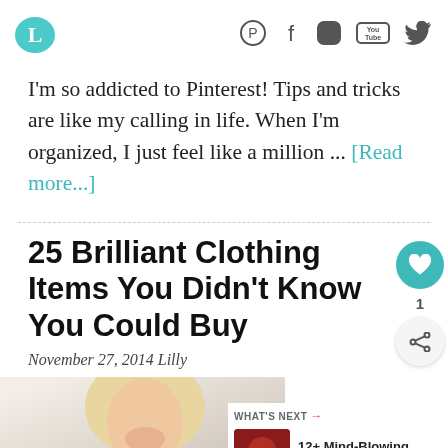L [logo] — Pinterest, Facebook, Instagram, YouTube, Twitter social icons
I'm so addicted to Pinterest! Tips and tricks are like my calling in life. When I'm organized, I just feel like a million ... [Read more...]
25 Brilliant Clothing Items You Didn't Know You Could Buy
November 27, 2014  Lilly
[Figure (photo): Partial photo of a blonde woman smiling, wearing a black top, cropped at bottom of page]
WHAT'S NEXT → 12+ Mind-Blowing Wa...